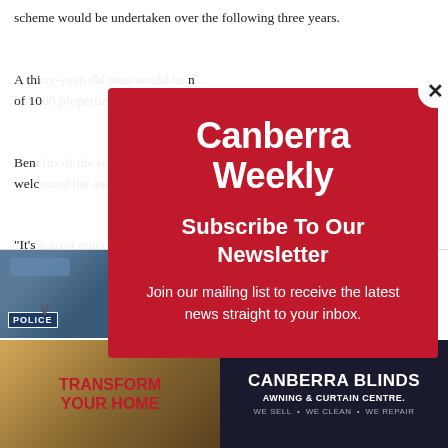scheme would be undertaken over the following three years.
A thi... n of 10...
Ben... welc...
“It’s... obvi... this mon... [equi... didn’t...
[Figure (screenshot): Canberra Weekly newsletter subscription modal overlay with red background. Shows 'Canberra Weekly' logo in white, 'Subscribe To Our Newsletter' heading, and 'Join our mailing list to receive the latest news straight to your inbox.' text. Has an X close button in the top right corner.]
[Figure (screenshot): Notification bar showing a police car image on the left and headline 'Missing 33-year-old woman’s body found in Belconnen | Canberra Weekly' on the right with a close (x) button.]
[Figure (screenshot): Advertisement banner for Canberra Blinds Awning & Curtain Centre with 'Transform Your Home' text on the left side and 'Canberra Blinds Awning & Curtain Centre. We sell. We clean. We repair.' text on the right dark background.]